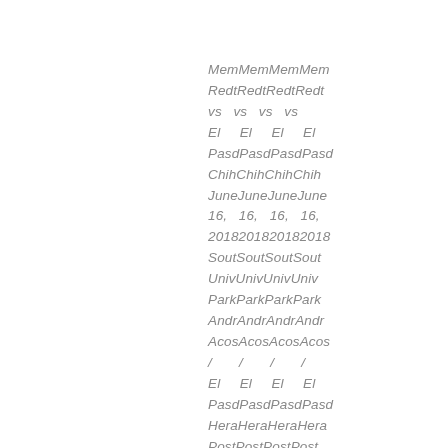MemMemMemMem
RedtRedtRedtRedt
vs   vs   vs   vs
El     El     El     El
PasdPasdPasdPasd
ChihChihChihChih
JuneJuneJuneJune
16,   16,   16,   16,
2018201820182018
SoutSoutSoutSout
UnivUnivUnivUniv
ParkParkParkPark
AndrAndrAndrAndr
AcosAcosAcosAcos
/       /       /       /
El     El     El     El
PasdPasdPasdPasd
HeraHeraHeraHera
PostPostPostPost